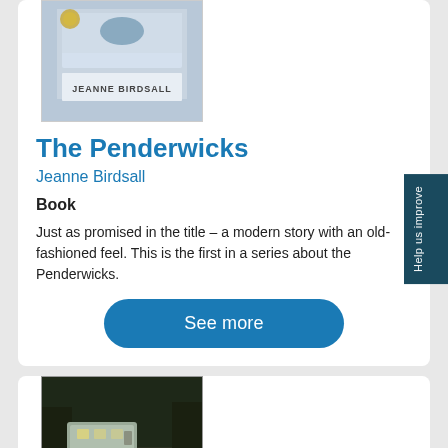[Figure (illustration): Book cover of The Penderwicks by Jeanne Birdsall, blue/yellow illustrated cover with a bird/medal]
The Penderwicks
Jeanne Birdsall
Book
Just as promised in the title – a modern story with an old-fashioned feel. This is the first in a series about the Penderwicks.
See more
[Figure (illustration): Book cover of Because of Winn-Dixie by Kate DiCamillo, dark atmospheric cover with a trailer and trees]